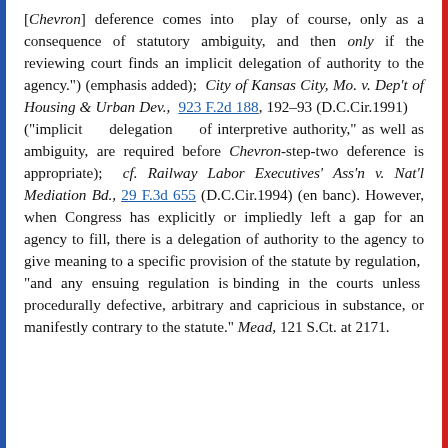[Chevron] deference comes into play of course, only as a consequence of statutory ambiguity, and then only if the reviewing court finds an implicit delegation of authority to the agency.") (emphasis added); City of Kansas City, Mo. v. Dep't of Housing & Urban Dev., 923 F.2d 188, 192-93 (D.C.Cir.1991) ("implicit delegation of interpretive authority," as well as ambiguity, are required before Chevron-step-two deference is appropriate); cf. Railway Labor Executives' Ass'n v. Nat'l Mediation Bd., 29 F.3d 655 (D.C.Cir.1994) (en banc). However, when Congress has explicitly or impliedly left a gap for an agency to fill, there is a delegation of authority to the agency to give meaning to a specific provision of the statute by regulation, "and any ensuing regulation is binding in the courts unless procedurally defective, arbitrary and capricious in substance, or manifestly contrary to the statute." Mead, 121 S.Ct. at 2171.